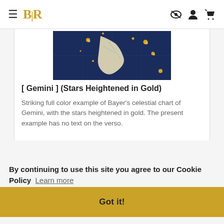BLR
[Figure (photo): Celestial chart of Gemini constellation on dark blue background with stars heightened in gold]
[ Gemini ] (Stars Heightened in Gold)
Striking full color example of Bayer's celestial chart of Gemini, with the stars heightened in gold. The present example has no text on the verso.
By continuing to use this site you agree to our Cookie Policy  Learn more
Got it!
[Figure (photo): Partial view of a colorful historical map at the bottom of the page]